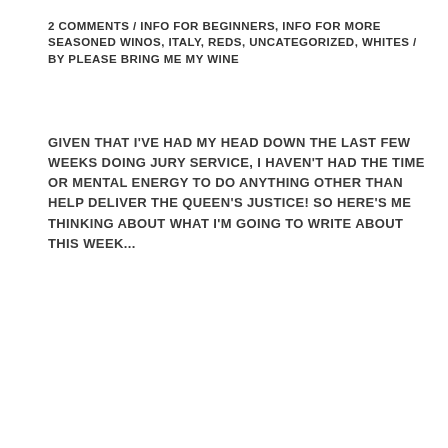2 COMMENTS / INFO FOR BEGINNERS, INFO FOR MORE SEASONED WINOS, ITALY, REDS, UNCATEGORIZED, WHITES / BY PLEASE BRING ME MY WINE
GIVEN THAT I'VE HAD MY HEAD DOWN THE LAST FEW WEEKS DOING JURY SERVICE, I HAVEN'T HAD THE TIME OR MENTAL ENERGY TO DO ANYTHING OTHER THAN HELP DELIVER THE QUEEN'S JUSTICE! SO HERE'S ME THINKING ABOUT WHAT I'M GOING TO WRITE ABOUT THIS WEEK...
[Figure (photo): Composite image: left side shows a man bending down working in a vineyard outdoors; right side shows wine bottles with labels including Langhe Nascetta 2013 Borea and Barolo, from Rivetto winery.]